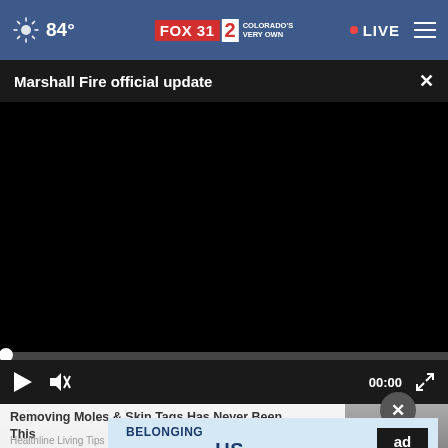84° FOX31 2 Colorado's Very Own • LIVE
Marshall Fire official update
[Figure (screenshot): Black video player frame showing Marshall Fire official update video, paused at 00:00, with play button, mute button, timestamp and fullscreen controls]
Removing Moles & Skin Tags Has Never Been This...
Healthline Living Tips
[Figure (advertisement): Ad Council banner reading BELONGING BEGINS WITH US with red underline, on light blue background]